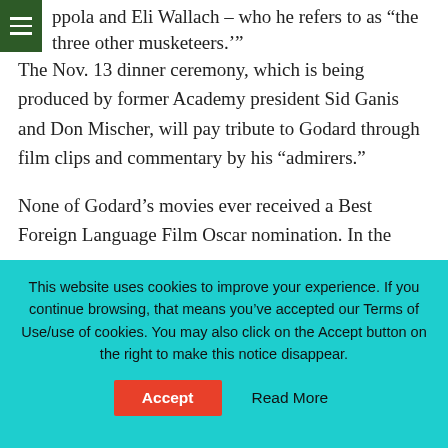ppola and Eli Wallach – who he refers to as 'the three other musketeers.'"
The Nov. 13 dinner ceremony, which is being produced by former Academy president Sid Ganis and Don Mischer, will pay tribute to Godard through film clips and commentary by his "admirers."
None of Godard's movies ever received a Best Foreign Language Film Oscar nomination. In the
This website uses cookies to improve your experience. If you continue browsing, that means you've accepted our Terms of Use/use of cookies. You may also click on the Accept button on the right to make this notice disappear.